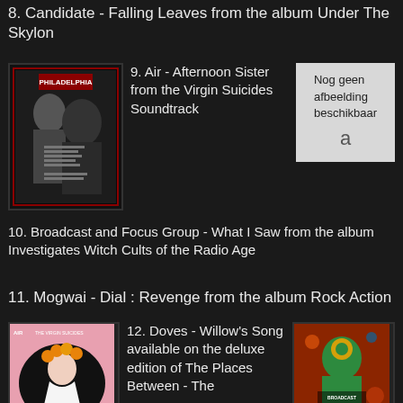8. Candidate - Falling Leaves from the album Under The Skylon
9. Air - Afternoon Sister from the Virgin Suicides Soundtrack
[Figure (photo): Philadelphia movie soundtrack album cover - black and white photo of two men]
[Figure (other): Nog geen afbeelding beschikbaar placeholder with Amazon 'a' logo]
10. Broadcast and Focus Group - What I Saw from the album Investigates Witch Cults of the Radio Age
11. Mogwai - Dial : Revenge from the album Rock Action
[Figure (photo): Air - The Virgin Suicides album cover with illustrated girl with flowers]
12. Doves - Willow's Song available on the deluxe edition of The Places Between - The Best of Doves
[Figure (photo): Broadcast Investigates Witch Cults of the Radio Age album cover - colorful psychedelic figure]